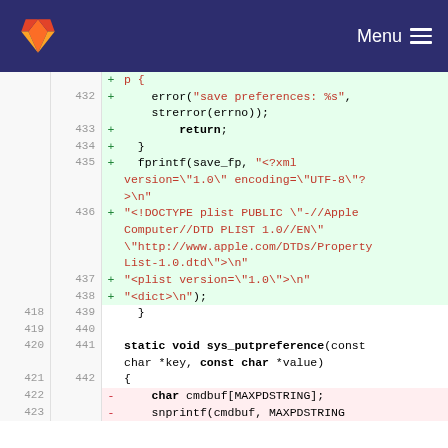[Figure (screenshot): GitLab navigation bar with fox logo and Menu button]
Code diff view showing lines 432-442 (added, green background) and lines 418-423 (context/removed). Added lines include error(), return, fprintf with XML header, DOCTYPE plist, plist version, dict tags. Context lines show closing brace, static void sys_putpreference function declaration, opening brace. Removed lines show char cmdbuf[MAXPDSTRING] and snprintf(cmdbuf, MAXPDSTRING...